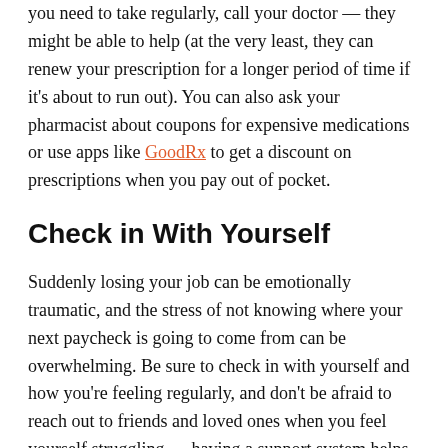you need to take regularly, call your doctor — they might be able to help (at the very least, they can renew your prescription for a longer period of time if it's about to run out). You can also ask your pharmacist about coupons for expensive medications or use apps like GoodRx to get a discount on prescriptions when you pay out of pocket.
Check in With Yourself
Suddenly losing your job can be emotionally traumatic, and the stress of not knowing where your next paycheck is going to come from can be overwhelming. Be sure to check in with yourself and how you're feeling regularly, and don't be afraid to reach out to friends and loved ones when you feel yourself struggling — having a support system helps a lot.
And while you should dedicate most of your time to applying to jobs and finding part-time or freelance work to keep yourself in the interim, please make sure to...